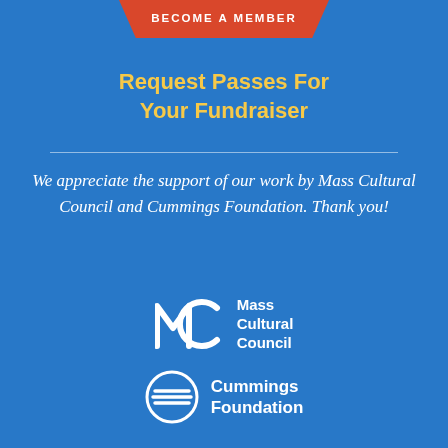BECOME A MEMBER
Request Passes For Your Fundraiser
We appreciate the support of our work by Mass Cultural Council and Cummings Foundation. Thank you!
[Figure (logo): Mass Cultural Council logo — MC lettermark with 'Mass Cultural Council' text]
[Figure (logo): Cummings Foundation logo — circle with horizontal lines and 'Cummings Foundation' text]